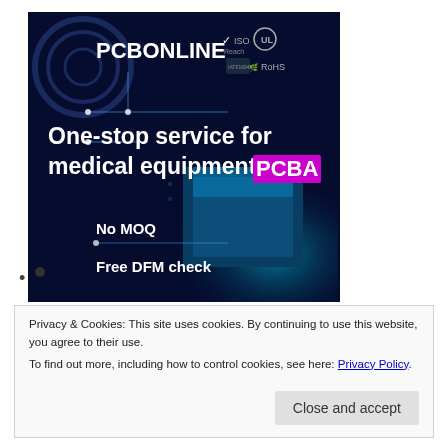[Figure (illustration): PCBONLINE advertisement banner with dark navy background showing a PCB/chip image. Top left shows 'PCBONLINE' logo in white bold text. Top right shows certification logos: Reach checkmark, ISO, UL, and RoHS. Center text reads 'One-stop service for medical equipment PCBA' with PCBA highlighted in purple/magenta. Bottom left shows 'No MOQ' and 'Free DFM check' with circuit line decorations and a bullet point.]
Privacy & Cookies: This site uses cookies. By continuing to use this website, you agree to their use.
To find out more, including how to control cookies, see here: Privacy Policy